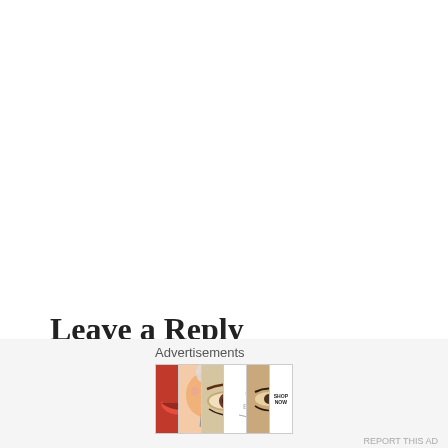Leave a Reply
Advertisements
[Figure (photo): Ulta Beauty advertisement banner showing beauty images: red lips with makeup brush, face with powder brush, eye with makeup, Ulta Beauty logo, smokey eyes close-up, and SHOP NOW text]
REPORT THIS AD